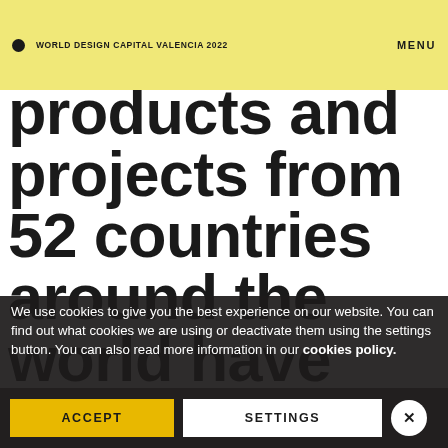WORLD DESIGN CAPITAL VALENCIA 2022   MENU
products and projects from 52 countries around the world have been appraised by 91 international and independent design experts.
We use cookies to give you the best experience on our website. You can find out what cookies we are using or deactivate them using the settings button. You can also read more information in our cookies policy.
ACCEPT   SETTINGS   ×